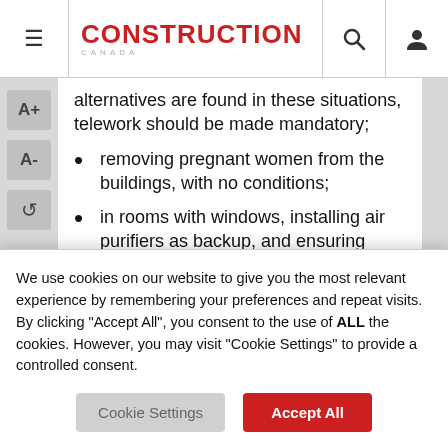Construction Canada
alternatives are found in these situations, telework should be made mandatory;
removing pregnant women from the buildings, with no conditions;
in rooms with windows, installing air purifiers as backup, and ensuring they are installed by school support staff or a qualified professional; and
establishing, in the short term, a full equipment register and a detailed
We use cookies on our website to give you the most relevant experience by remembering your preferences and repeat visits. By clicking “Accept All”, you consent to the use of ALL the cookies. However, you may visit “Cookie Settings” to provide a controlled consent.